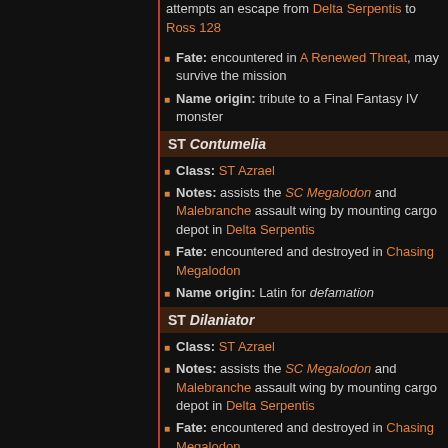attempts an escape from Delta Serpentis to Ross 128
Fate: encountered in A Renewed Threat, may survive the mission
Name origin: tribute to a Final Fantasy IV monster
ST Contumelia
Class: ST Azrael
Notes: assists the SC Megalodon and Malebranche assault wing by mounting cargo depot in Delta Serpentis
Fate: encountered and destroyed in Chasing Megalodon
Name origin: Latin for defamation
ST Dilaniator
Class: ST Azrael
Notes: assists the SC Megalodon and Malebranche assault wing by mounting cargo depot in Delta Serpentis
Fate: encountered and destroyed in Chasing Megalodon
Name origin: Latin for shredder